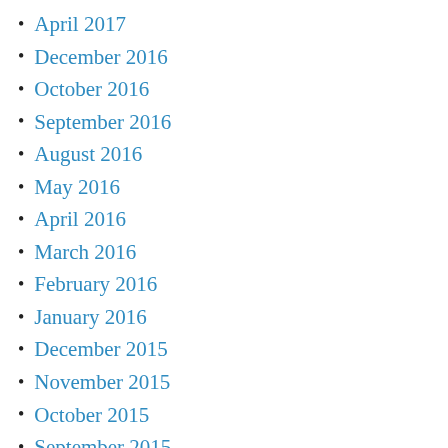April 2017
December 2016
October 2016
September 2016
August 2016
May 2016
April 2016
March 2016
February 2016
January 2016
December 2015
November 2015
October 2015
September 2015
August 2015
July 2015